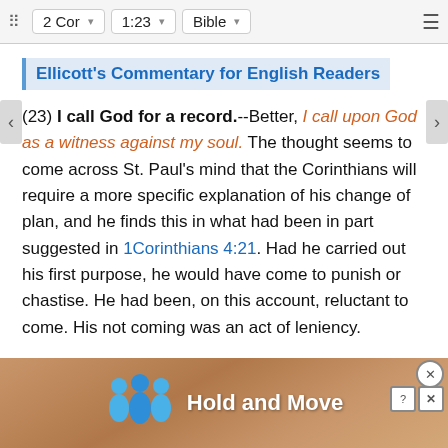2 Cor  1:23  Bible
Ellicott's Commentary for English Readers
(23) I call God for a record.--Better, I call upon God as a witness against my soul. The thought seems to come across St. Paul's mind that the Corinthians will require a more specific explanation of his change of plan, and he finds this in what had been in part suggested in 1Corinthians 4:21. Had he carried out his first purpose, he would have come to punish or chastise. He had been, on this account, reluctant to come. His not coming was an act of leniency.
I came not as yet.--Better, I came no more--, not a sec... verb cann...
[Figure (screenshot): Mobile advertisement overlay showing 'Hold and Move' text with person icons on a brownish gradient background, with close and info buttons]